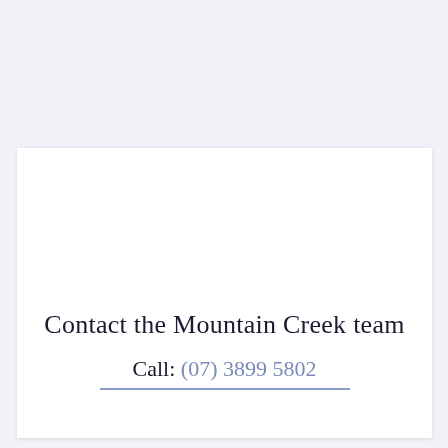Contact the Mountain Creek team
Call: (07) 3899 5802